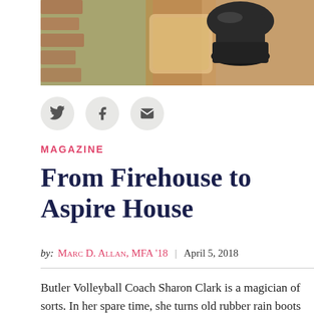[Figure (photo): Close-up photo of a rubber rain boot used as a planter, with wood and brick background visible]
MAGAZINE
From Firehouse to Aspire House
by: Marc D. Allan, MFA '18 | April 5, 2018
Butler Volleyball Coach Sharon Clark is a magician of sorts. In her spare time, she turns old rubber rain boots into planters, converts a weightlifting bench to a patio seat, and salvages a barrel of discarded shoe soles to compile into a sculpture.